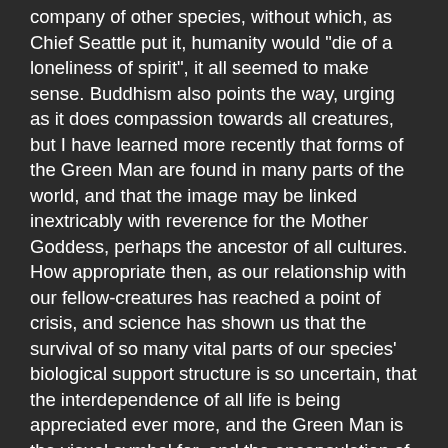company of other species, without which, as Chief Seattle put it, humanity would "die of a loneliness of spirit", it all seemed to make sense. Buddhism also points the way, urging as it does compassion towards all creatures, but I have learned more recently that forms of the Green Man are found in many parts of the world, and that the image may be linked inextricably with reverence for the Mother Goddess, perhaps the ancestor of all cultures. How appropriate then, as our relationship with our fellow-creatures has reached a point of crisis, and science has shown us that the survival of so many vital parts of our species' biological support structure is so uncertain, that the interdependence of all life is being appreciated ever more, and the Green Man is the visual symbol for, and the encapsulation of, that renewed awareness".
Publication Frequency
JoTT is monthly with a strict schedule of publication. Regular issues are published online on the 26th of every month. For manuscripts to be considered for publication in